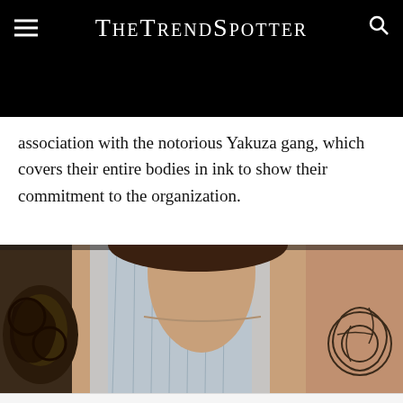TheTrendSpotter
association with the notorious Yakuza gang, which covers their entire bodies in ink to show their commitment to the organization.
[Figure (photo): Close-up photo of a person showing tattoos on both shoulders/chest area, wearing a light blue top, with tattoos visible on left and right sides]
[Figure (other): Advertisement for McAlister's On-The-Go by McAlister's Deli with logo and navigation arrow]